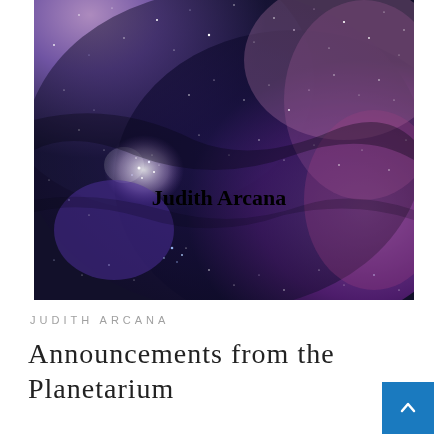[Figure (photo): Book cover image showing a deep space nebula with purple, blue and pink hues with stars scattered throughout. The author name 'Judith Arcana' is displayed in bold text overlaid on the lower-center portion of the image.]
JUDITH ARCANA
Announcements from the Planetarium